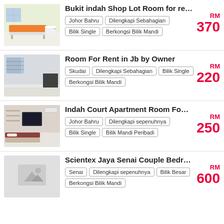[Figure (photo): Room photo showing a single bed with orange mattress, white chair, and bright room]
Bukit indah Shop Lot Room for re…
Johor Bahru | Dilengkapi Sebahagian | Bilik Single | Berkongsi Bilik Mandi | RM 370
[Figure (photo): Room photo showing a simple room with white walls, window with grilles, and minimal furniture]
Room For Rent in Jb by Owner
Skudai | Dilengkapi Sebahagian | Bilik Single | Berkongsi Bilik Mandi | RM 220
[Figure (photo): Room photo showing a furnished room with TV, bed, and shelves]
Indah Court Apartment Room Fo…
Johor Bahru | Dilengkapi sepenuhnya | Bilik Single | Bilik Mandi Peribadi | RM 250
[Figure (photo): No photo available - placeholder image icon]
Scientex Jaya Senai Couple Bedr…
Senai | Dilengkapi sepenuhnya | Bilik Besar | Berkongsi Bilik Mandi | RM 600